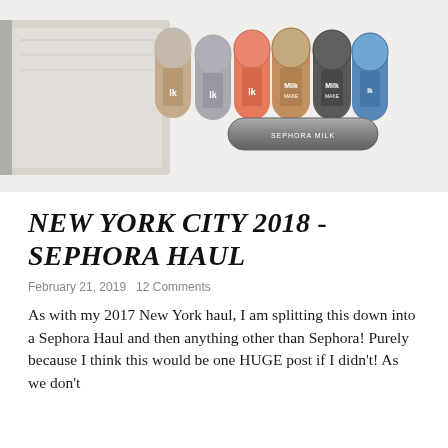[Figure (photo): Six small Milk Makeup stick products lined up in a row on a white surface, with an additional cylindrical product (mascara or similar) in front. Products are in various colors including nude, silver/grey, coral/pink, bronze, dark brown, and blue.]
NEW YORK CITY 2018 - SEPHORA HAUL
February 21, 2019   12 Comments
As with my 2017 New York haul, I am splitting this down into a Sephora Haul and then anything other than Sephora! Purely because I think this would be one HUGE post if I didn't! As we don't